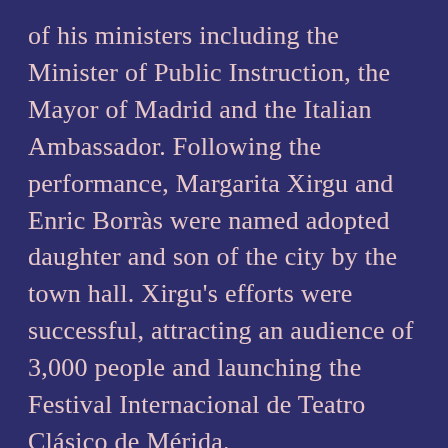of his ministers including the Minister of Public Instruction, the Mayor of Madrid and the Italian Ambassador. Following the performance, Margarita Xirgu and Enric Borràs were named adopted daughter and son of the city by the town hall. Xirgu's efforts were successful, attracting an audience of 3,000 people and launching the Festival Internacional de Teatro Clásico de Mérida.
Margarita Xirgu was a circle of influential lesbians, known as the Círculo Sáfico de Madrid, who were highly active in during the